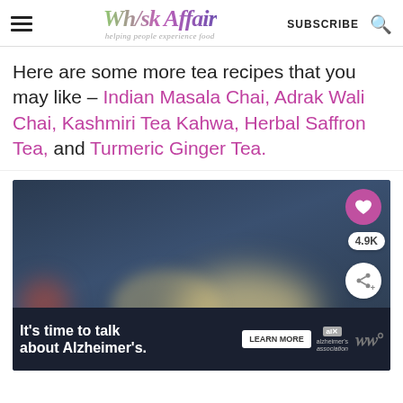Whisk Affair — Helping people experience food | SUBSCRIBE
Here are some more tea recipes that you may like – Indian Masala Chai, Adrak Wali Chai, Kashmiri Tea Kahwa, Herbal Saffron Tea, and Turmeric Ginger Tea.
[Figure (photo): A blurred moody dark blue background with a cup of tea visible in soft focus, with bokeh lights. A heart/save button (4.9K saves), a share button, and a 'What's Next: Starbucks Pumpkin...' card overlay are visible on the right side.]
[Figure (screenshot): Advertisement bar at the bottom: 'It's time to talk about Alzheimer's.' with a LEARN MORE button, Alzheimer's Association logo, and a close button.]